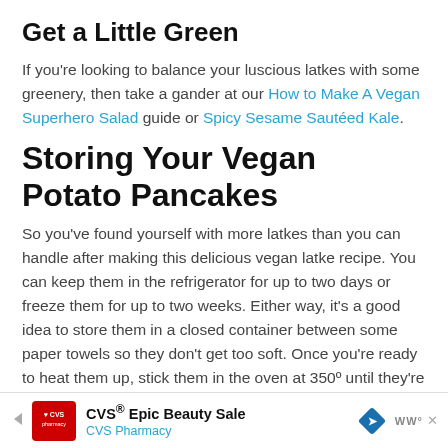Get a Little Green
If you're looking to balance your luscious latkes with some greenery, then take a gander at our How to Make A Vegan Superhero Salad guide or Spicy Sesame Sautéed Kale.
Storing Your Vegan Potato Pancakes
So you've found yourself with more latkes than you can handle after making this delicious vegan latke recipe. You can keep them in the refrigerator for up to two days or freeze them for up to two weeks. Either way, it's a good idea to store them in a closed container between some paper towels so they don't get too soft. Once you're ready to heat them up, stick them in the oven at 350º until they're crisp again.
[Figure (other): CVS Pharmacy advertisement banner: CVS Epic Beauty Sale, CVS Pharmacy, with CVS logo, navigation arrow, and Waze icon]